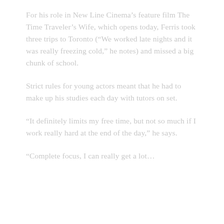For his role in New Line Cinema’s feature film The Time Traveler’s Wife, which opens today, Ferris took three trips to Toronto (“We worked late nights and it was really freezing cold,” he notes) and missed a big chunk of school.
Strict rules for young actors meant that he had to make up his studies each day with tutors on set.
“It definitely limits my free time, but not so much if I work really hard at the end of the day,” he says.
“Complete focus, I can really get a lot…